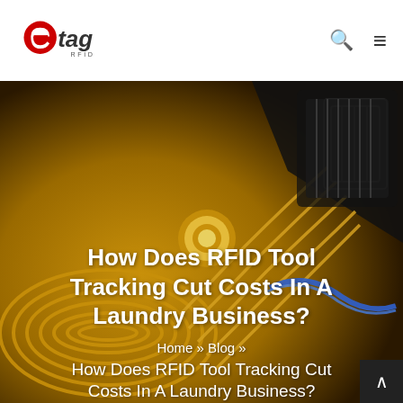[Figure (logo): eTag RFID logo with red 'e' and grey 'tag' text, RFID subtitle]
[Figure (photo): Close-up macro photo of RFID tag/chip circuitry with gold coiled antenna on dark background, with blue wire]
How Does RFID Tool Tracking Cut Costs In A Laundry Business?
Home » Blog »
How Does RFID Tool Tracking Cut Costs In A Laundry Business?